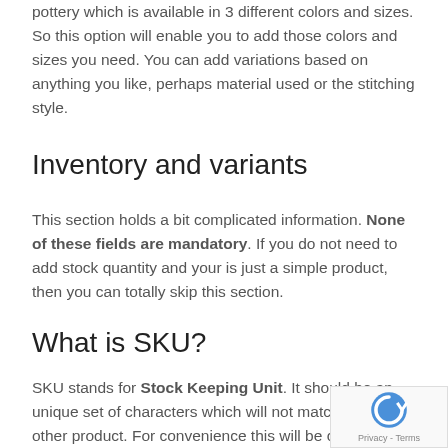pottery which is available in 3 different colors and sizes. So this option will enable you to add those colors and sizes you need. You can add variations based on anything you like, perhaps material used or the stitching style.
Inventory and variants
This section holds a bit complicated information. None of these fields are mandatory. If you do not need to add stock quantity and your is just a simple product, then you can totally skip this section.
What is SKU?
SKU stands for Stock Keeping Unit. It should be an unique set of characters which will not match to any other product. For convenience this will be created by HastakalaKart automatically.